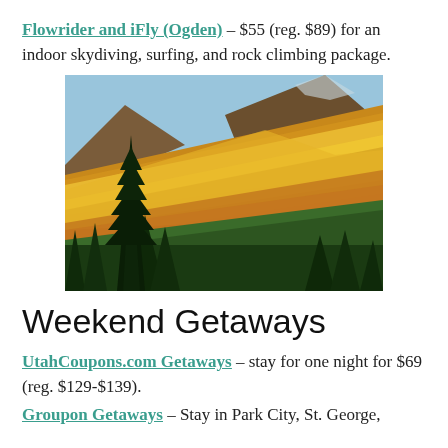Flowrider and iFly (Ogden) – $55 (reg. $89) for an indoor skydiving, surfing, and rock climbing package.
[Figure (photo): Autumn mountain landscape with golden aspen trees covering steep hillsides and evergreen pine trees in the foreground under a blue sky.]
Weekend Getaways
UtahCoupons.com Getaways – stay for one night for $69 (reg. $129-$139).
Groupon Getaways – Stay in Park City, St. George,